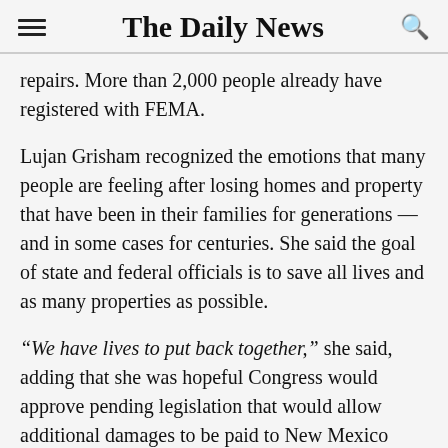The Daily News
repairs. More than 2,000 people already have registered with FEMA.
Lujan Grisham recognized the emotions that many people are feeling after losing homes and property that have been in their families for generations — and in some cases for centuries. She said the goal of state and federal officials is to save all lives and as many properties as possible.
“We have lives to put back together,” she said, adding that she was hopeful Congress would approve pending legislation that would allow additional damages to be paid to New Mexico residents and business owners.